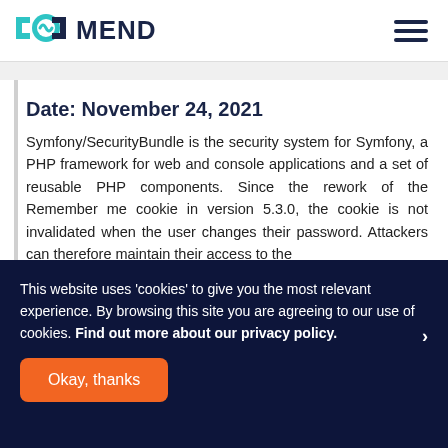MEND
Date: November 24, 2021
Symfony/SecurityBundle is the security system for Symfony, a PHP framework for web and console applications and a set of reusable PHP components. Since the rework of the Remember me cookie in version 5.3.0, the cookie is not invalidated when the user changes their password. Attackers can therefore maintain their access to the
This website uses 'cookies' to give you the most relevant experience. By browsing this site you are agreeing to our use of cookies. Find out more about our privacy policy.
Okay, thanks